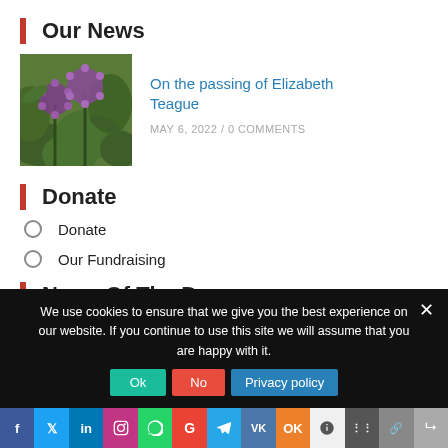Our News
[Figure (photo): Thumbnail photo of purple allium flowers in green foliage]
On the passing of Elizabeth Teague
MAY 6, 2022 / 0 COMMENTS
Donate
Donate
Our Fundraising
News Of The Day
We use cookies to ensure that we give you the best experience on our website. If you continue to use this site we will assume that you are happy with it.
Ok  No  Privacy policy  [social share icons]